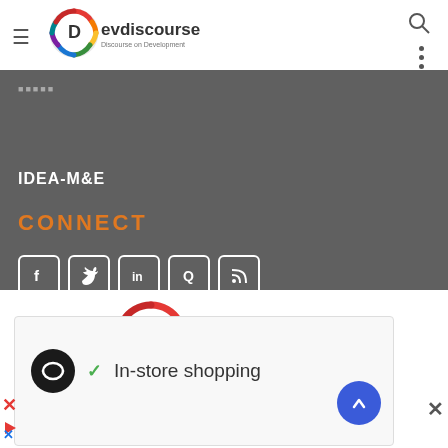[Figure (logo): Devdiscourse logo in header - circular colorful dots ring with Devdiscourse text and tagline Discourse on Development]
IDEA-M&E
CONNECT
[Figure (logo): Devdiscourse main logo - larger version with circular colorful dots ring and Devdiscourse text with tagline Discourse on Development]
Email: info@devdiscourse.com
[Figure (screenshot): Advertisement banner showing in-store shopping text with checkmark, dark circular avatar icon with infinity-like symbol, and blue circular arrow button]